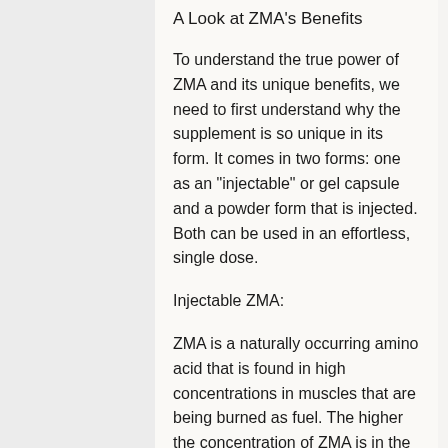A Look at ZMA's Benefits
To understand the true power of ZMA and its unique benefits, we need to first understand why the supplement is so unique in its form. It comes in two forms: one as an "injectable" or gel capsule and a powder form that is injected. Both can be used in an effortless, single dose.
Injectable ZMA:
ZMA is a naturally occurring amino acid that is found in high concentrations in muscles that are being burned as fuel. The higher the concentration of ZMA is in the body, the more the body will burn muscle. ZMA binds to its target protein, the muscle protein MyoSIL, which creates an electrical charge into the muscle protein Myosin. The effect is similar to giving a muscle a boost by stimulating the